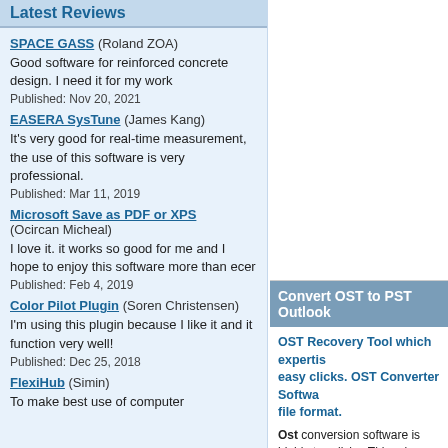Latest Reviews
SPACE GASS (Roland ZOA)
Good software for reinforced concrete design. I need it for my work
Published: Nov 20, 2021
EASERA SysTune (James Kang)
It's very good for real-time measurement, the use of this software is very professional.
Published: Mar 11, 2019
Microsoft Save as PDF or XPS (Ocircan Micheal)
I love it. it works so good for me and I hope to enjoy this software more than ecer
Published: Feb 4, 2019
Color Pilot Plugin (Soren Christensen)
I'm using this plugin because I like it and it function very well!
Published: Dec 25, 2018
FlexiHub (Simin)
To make best use of computer
Convert OST to PST Outlook
OST Recovery Tool which expertise easy clicks. OST Converter Software file format.
Ost conversion software is highly tec clicks. This advance Ost to Pst conv bcc, cc, and subject etc information's Recover/Convert Ost to Pst as yet...